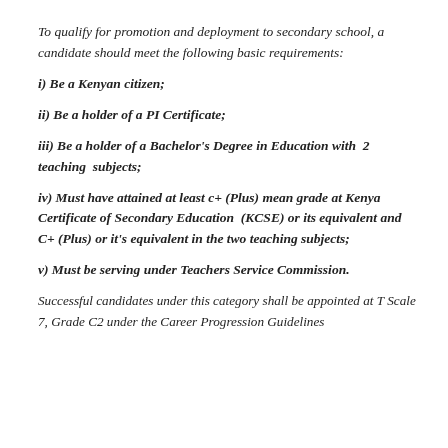To qualify for promotion and deployment to secondary school, a candidate should meet the following basic requirements:
i) Be a Kenyan citizen;
ii) Be a holder of a PI Certificate;
iii) Be a holder of a Bachelor's Degree in Education with 2 teaching subjects;
iv) Must have attained at least c+ (Plus) mean grade at Kenya Certificate of Secondary Education (KCSE) or its equivalent and C+ (Plus) or it's equivalent in the two teaching subjects;
v) Must be serving under Teachers Service Commission.
Successful candidates under this category shall be appointed at T Scale 7, Grade C2 under the Career Progression Guidelines